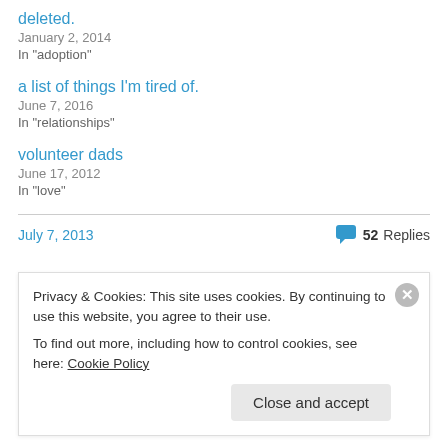deleted.
January 2, 2014
In "adoption"
a list of things I'm tired of.
June 7, 2016
In "relationships"
volunteer dads
June 17, 2012
In "love"
July 7, 2013   52 Replies
Privacy & Cookies: This site uses cookies. By continuing to use this website, you agree to their use.
To find out more, including how to control cookies, see here: Cookie Policy
Close and accept